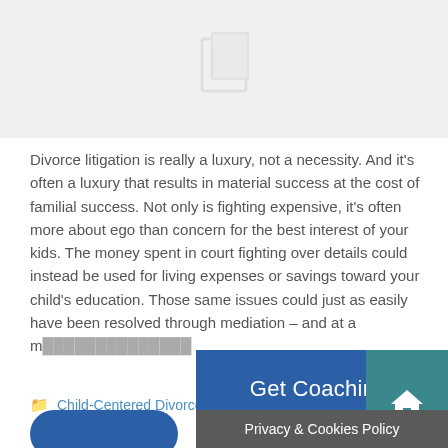[Figure (illustration): Gray placeholder image area with a faint image icon in the center]
Divorce litigation is really a luxury, not a necessity. And it's often a luxury that results in material success at the cost of familial success. Not only is fighting expensive, it's often more about ego than concern for the best interest of your kids. The money spent in court fighting over details could instead be used for living expenses or savings toward your child's education. Those same issues could just as easily have been resolved through mediation – and at a m…
Child-Centered Divorce
Get Coaching!
Privacy & Cookies Policy